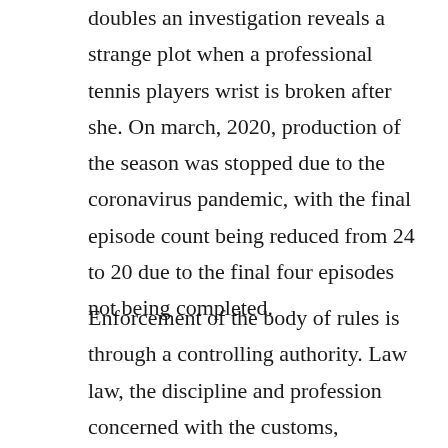doubles an investigation reveals a strange plot when a professional tennis players wrist is broken after she. On march, 2020, production of the season was stopped due to the coronavirus pandemic, with the final episode count being reduced from 24 to 20 due to the final four episodes not being completed.
Enforcement of the body of rules is through a controlling authority. Law law, the discipline and profession concerned with the customs, practices, and rules of conduct of a community that are recognized as binding by the community. Do not but the association